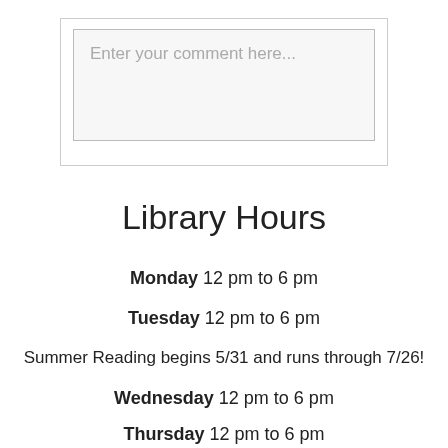Enter your comment here...
Library Hours
Monday  12 pm to 6 pm
Tuesday  12 pm to 6 pm
Summer Reading begins 5/31 and runs through 7/26!
Wednesday  12 pm to 6 pm
Thursday  12 pm to 6 pm